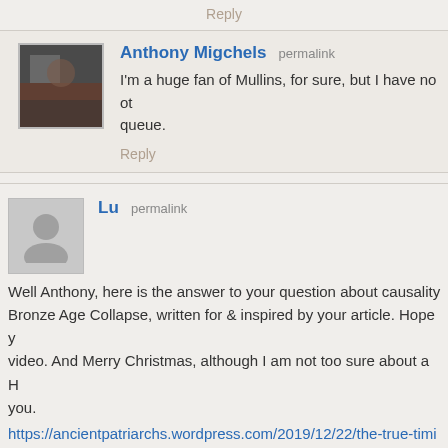Reply
Anthony Migchels permalink
I'm a huge fan of Mullins, for sure, but I have no other queue.
Reply
Lu permalink
Well Anthony, here is the answer to your question about causality Bronze Age Collapse, written for & inspired by your article. Hope y video. And Merry Christmas, although I am not too sure about a H you.
https://ancientpatriarchs.wordpress.com/2019/12/22/the-true-timin the-bronze-age-collapse/
Cheers
Lu
Taiwan